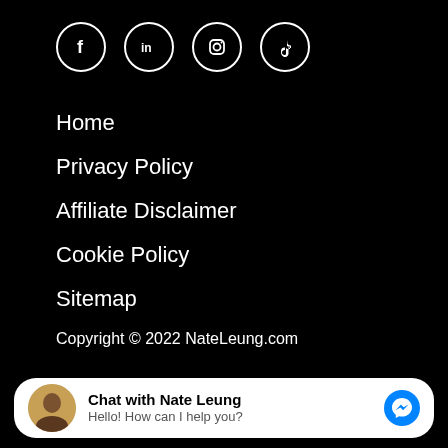[Figure (infographic): Four social media icon circles: Facebook, LinkedIn, Instagram, TikTok]
Home
Privacy Policy
Affiliate Disclaimer
Cookie Policy
Sitemap
Copyright © 2022 NateLeung.com
[Figure (infographic): Chat widget with Nate Leung avatar, 'Chat with Nate Leung' bold text, 'Hello! How can I help you?' subtitle, and Facebook Messenger icon]